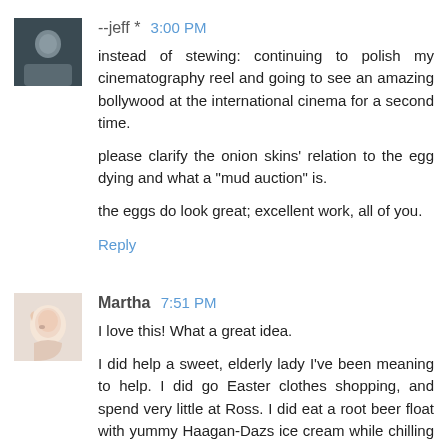--jeff * 3:00 PM
instead of stewing: continuing to polish my cinematography reel and going to see an amazing bollywood at the international cinema for a second time.

please clarify the onion skins' relation to the egg dying and what a "mud auction" is.

the eggs do look great; excellent work, all of you.
Reply
Martha 7:51 PM
I love this! What a great idea.

I did help a sweet, elderly lady I've been meaning to help. I did go Easter clothes shopping, and spend very little at Ross. I did eat a root beer float with yummy Haagan-Dazs ice cream while chilling with my husband. Yum! :)
Reply